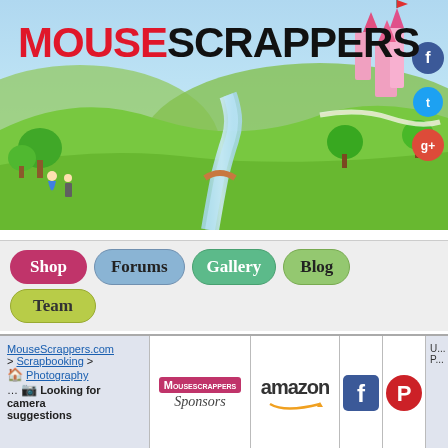[Figure (illustration): MouseScrappers website banner with cartoon landscape: green hills, winding river, castle on right, trees, Disney-style characters on left, colorful logo text reading MOUSESCRAPPERS]
MOUSESCRAPPERS
[Figure (screenshot): Navigation bar with buttons: Shop (pink/red), Forums (blue-gray), Gallery (green), Blog (light green), Team (yellow-green)]
MouseScrappers.com > Scrapbooking > Photography Looking for camera suggestions
[Figure (logo): MouseScrappers Sponsors logo badge (red M icon with Sponsors text)]
[Figure (logo): Amazon logo with orange smile underline]
[Figure (logo): Facebook logo (blue f icon)]
[Figure (logo): Pinterest logo (red P icon)]